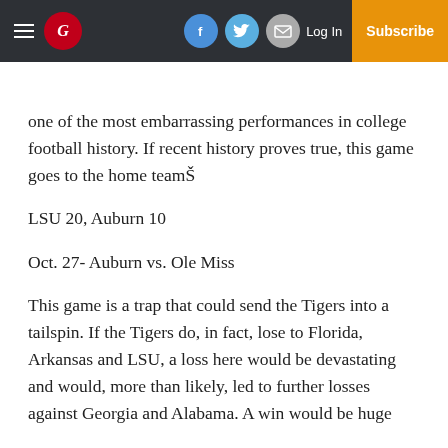Guardian logo header with navigation: hamburger menu, G logo, Facebook, Twitter, Email icons, Log In, Subscribe
one of the most embarrassing performances in college football history. If recent history proves true, this game goes to the home team
LSU 20, Auburn 10
Oct. 27- Auburn vs. Ole Miss
This game is a trap that could send the Tigers into a tailspin. If the Tigers do, in fact, lose to Florida, Arkansas and LSU, a loss here would be devastating and would, more than likely, led to further losses against Georgia and Alabama. A win would be huge